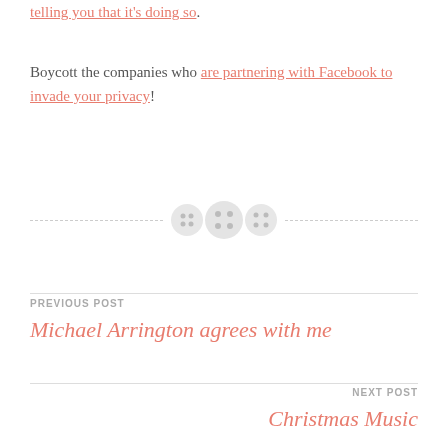telling you that it's doing so.
Boycott the companies who are partnering with Facebook to invade your privacy!
[Figure (illustration): Three button icons used as a decorative divider between a dashed line]
PREVIOUS POST
Michael Arrington agrees with me
NEXT POST
Christmas Music